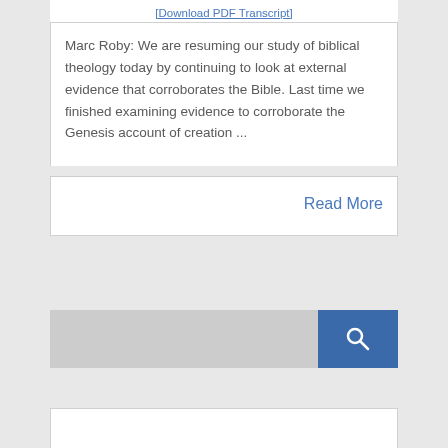[Download PDF Transcript]
Marc Roby: We are resuming our study of biblical theology today by continuing to look at external evidence that corroborates the Bible. Last time we finished examining evidence to corroborate the Genesis account of creation ...
Read More